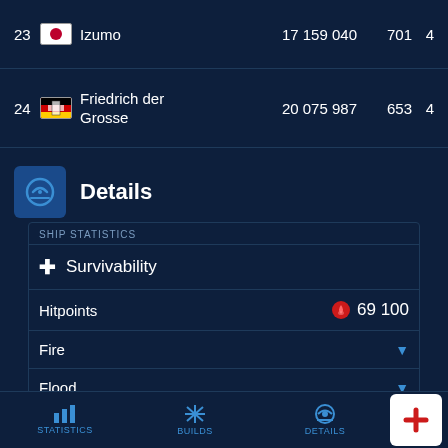| Rank | Flag | Ship | Score | Stat2 | Stat3 |
| --- | --- | --- | --- | --- | --- |
| 23 | JP | Izumo | 17 159 040 | 701 | 4 |
| 24 | DE | Friedrich der Grosse | 20 075 987 | 653 | 4 |
Details
SHIP STATISTICS
+ Survivability
Hitpoints  69 100
Fire
Flood
STATISTICS  BUILDS  DETAILS